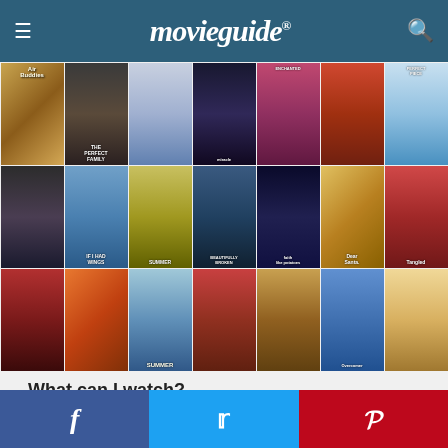movieguide®
[Figure (photo): Collage of movie posters including Air Buddies, The Perfect Family, Frozen, Miracle, Enchanted, Hedigoas, Perfect Piece, If I Had Wings, One Chance/Beautifully Broken, Faith Like Potatoes, Dear Santa, Tangled, Andromache(?), Summer, The Lego Movie 2, Overcomer, Playing with Fire]
What can I watch?
Filter/search movies by genre, quality and content rating